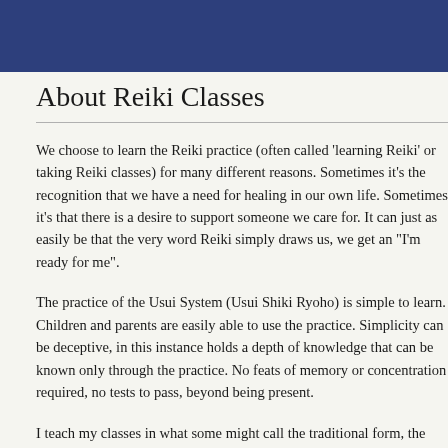About Reiki Classes
We choose to learn the Reiki practice (often called 'learning Reiki' or taking Reiki classes) for many different reasons. Sometimes it's the recognition that we have a need for healing in our own life. Sometimes it's that there is a desire to support someone we care for. It can just as easily be that the very word Reiki simply draws us, we get an "I'm ready for me".
The practice of the Usui System (Usui Shiki Ryoho) is simple to learn. Children and parents are easily able to use the practice. Simplicity can be deceptive, in this instance holds a depth of knowledge that can be known only through the practice. No feats of memory or concentration required, no tests to pass, beyond being present.
I teach my classes in what some might call the traditional form, the oral tradition, for the practice of the student through the form of a narrative, the telling of a story. The essence of the learning experience is "being there", an in-person relationship with the initiating master.